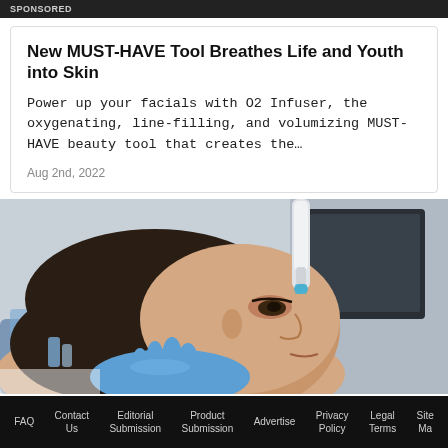SPONSORED
New MUST-HAVE Tool Breathes Life and Youth into Skin
Power up your facials with O2 Infuser, the oxygenating, line-filling, and volumizing MUST-HAVE beauty tool that creates the…
Aug 2nd, 2022
[Figure (photo): Woman receiving a facial treatment with a device held near her eye area by a gloved hand, in a clinical setting with equipment in background.]
FAQ   Contact Us   Editorial Submission   Product Submission   Advertise   Privacy Policy   Legal Terms   Site Map